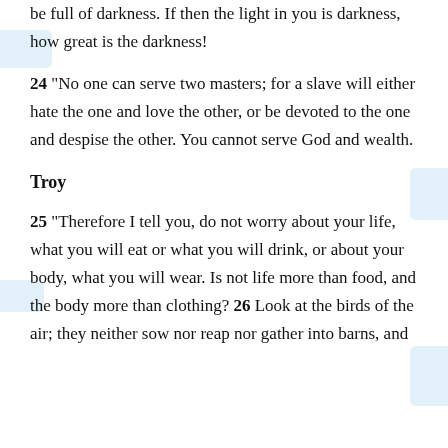be full of darkness. If then the light in you is darkness, how great is the darkness!
24 “No one can serve two masters; for a slave will either hate the one and love the other, or be devoted to the one and despise the other. You cannot serve God and wealth.
Troy
25 “Therefore I tell you, do not worry about your life, what you will eat or what you will drink, or about your body, what you will wear. Is not life more than food, and the body more than clothing? 26 Look at the birds of the air; they neither sow nor reap nor gather into barns, and